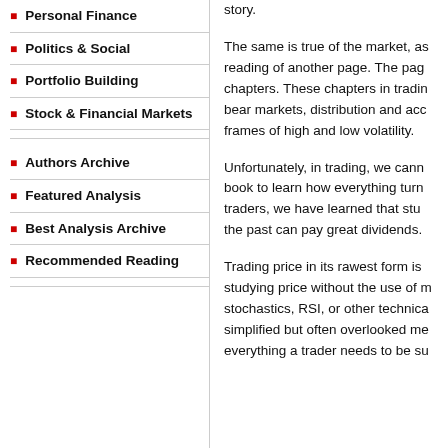Personal Finance
Politics & Social
Portfolio Building
Stock & Financial Markets
Authors Archive
Featured Analysis
Best Analysis Archive
Recommended Reading
story.
The same is true of the market, as reading of another page. The pages chapters. These chapters in trading bear markets, distribution and accumulation, time frames of high and low volatility.
Unfortunately, in trading, we cannot read a book to learn how everything turns out. As traders, we have learned that studying the past can pay great dividends.
Trading price in its rawest form is studying price without the use of momentum, stochastics, RSI, or other technical indicators. This simplified but often overlooked method contains everything a trader needs to be successful.